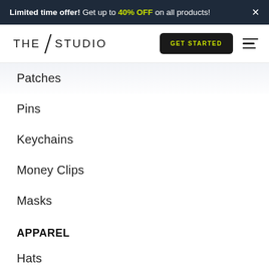Limited time offer! Get up to 40% OFF on all products! ×
[Figure (logo): THE STUDIO logo with diagonal slash mark between THE and STUDIO]
Patches
Pins
Keychains
Money Clips
Masks
APPAREL
Hats
Beanies